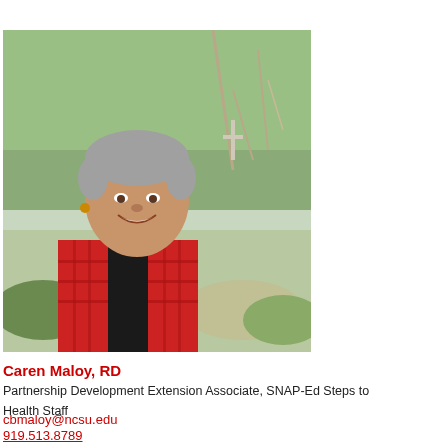[Figure (photo): Outdoor portrait photo of Caren Maloy, RD. A smiling woman with short gray hair, wearing a red and black plaid vest over a black shirt, standing in a garden/outdoor setting with trees and greenery in the background.]
Caren Maloy, RD
Partnership Development Extension Associate, SNAP-Ed Steps to Health Staff
cbmaloy@ncsu.edu
919.513.8789